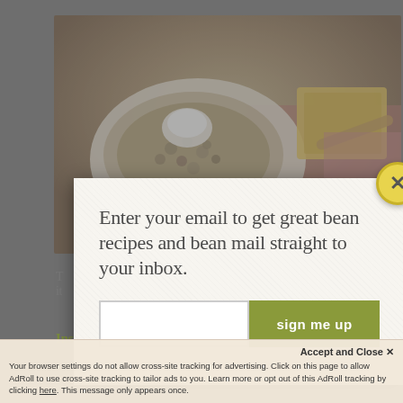[Figure (photo): Food photo showing bowls of pinto beans with butter/cream and ham hocks, partially visible behind modal overlay]
T... e it...
Instant Pot Pinto Beans & Ham Hocks
Enter your email to get great bean recipes and bean mail straight to your inbox.
sign me up
Accept and Close ✕
Your browser settings do not allow cross-site tracking for advertising. Click on this page to allow AdRoll to use cross-site tracking to tailor ads to you. Learn more or opt out of this AdRoll tracking by clicking here. This message only appears once.